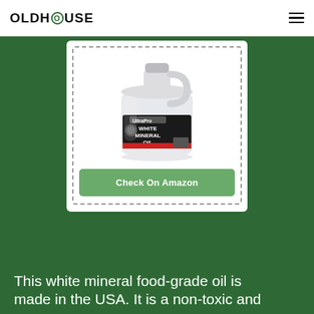OLDHOUSE
[Figure (photo): A gallon jug of UltraPro White Mineral Oil with a white translucent plastic container, black label with red stripe at the bottom, inside a dashed-border white card with a green 'Check On Amazon' button below]
This white mineral food-grade oil is made in the USA. It is a non-toxic and